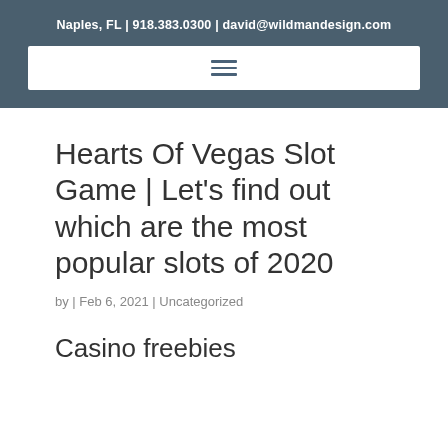Naples, FL | 918.383.0300 | david@wildmandesign.com
Hearts Of Vegas Slot Game | Let's find out which are the most popular slots of 2020
by | Feb 6, 2021 | Uncategorized
Casino freebies